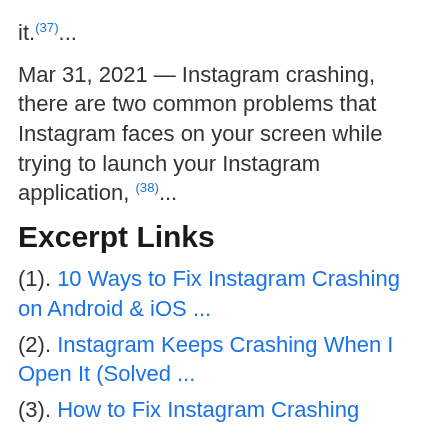it.(37)...
Mar 31, 2021 — Instagram crashing, there are two common problems that Instagram faces on your screen while trying to launch your Instagram application, (38)...
Excerpt Links
(1). 10 Ways to Fix Instagram Crashing on Android & iOS ...
(2). Instagram Keeps Crashing When I Open It (Solved ...
(3). How to Fix Instagram Crashing